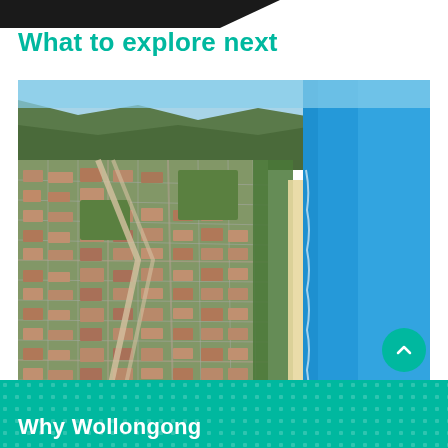What to explore next
[Figure (photo): Aerial photograph of Wollongong city showing the urban suburb layout with coastal beach and blue ocean on the right side, escarpment/mountains in the background, and green parks scattered throughout the city grid.]
Why Wollongong